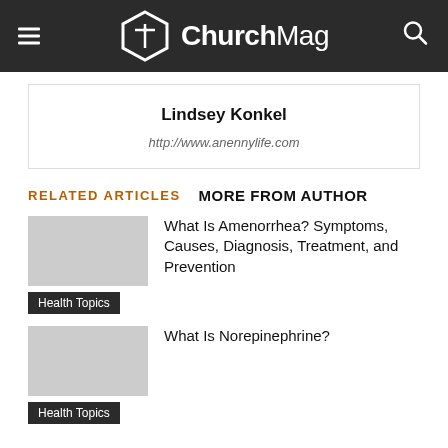ChurchMag
Lindsey Konkel
http://www.anennylife.com
RELATED ARTICLES   MORE FROM AUTHOR
What Is Amenorrhea? Symptoms, Causes, Diagnosis, Treatment, and Prevention
Health Topics
What Is Norepinephrine?
Health Topics